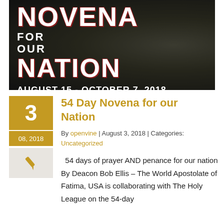[Figure (photo): Banner image for the 54-Day Novena for Our Nation campaign, August 15 - October 7, 2018, with decorative religious medals/rosary in background and large bold text overlay.]
54 Day Novena for our Nation
By openvine | August 3, 2018 | Categories: Uncategorized
54 days of prayer AND penance for our nation By Deacon Bob Ellis – The World Apostolate of Fatima, USA is collaborating with The Holy League on the 54-day